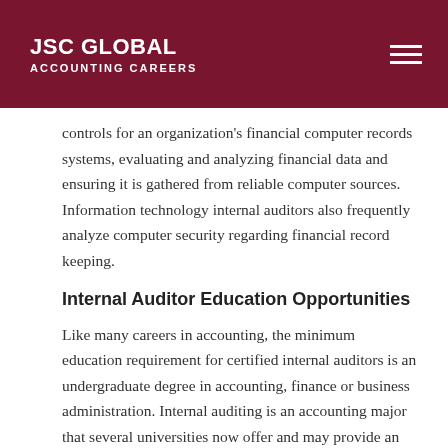JSC GLOBAL Accounting Careers
controls for an organization's financial computer records systems, evaluating and analyzing financial data and ensuring it is gathered from reliable computer sources. Information technology internal auditors also frequently analyze computer security regarding financial record keeping.
Internal Auditor Education Opportunities
Like many careers in accounting, the minimum education requirement for certified internal auditors is an undergraduate degree in accounting, finance or business administration. Internal auditing is an accounting major that several universities now offer and may provide an advantage for job applicants over applicants with a